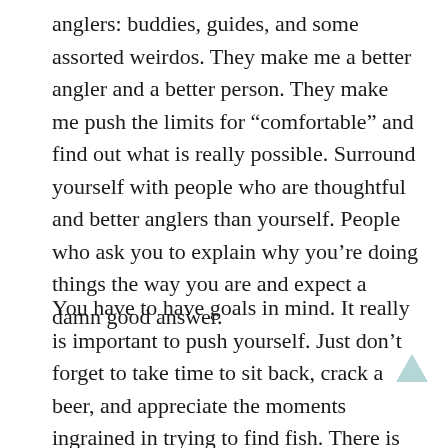anglers: buddies, guides, and some assorted weirdos. They make me a better angler and a better person. They make me push the limits for “comfortable” and find out what is really possible. Surround yourself with people who are thoughtful and better anglers than yourself. People who ask you to explain why you’re doing things the way you are and expect a damn good answer.
You have to have goals in mind. It really is important to push yourself. Just don’t forget to take time to sit back, crack a beer, and appreciate the moments ingrained in trying to find fish. There is certainly a dichotomy to all this. Sometimes you have to get out there and bust it and sometimes you have to accept the bite is off or the bugs aren’t hatching. Fish hard anyway, but take time to grab some food